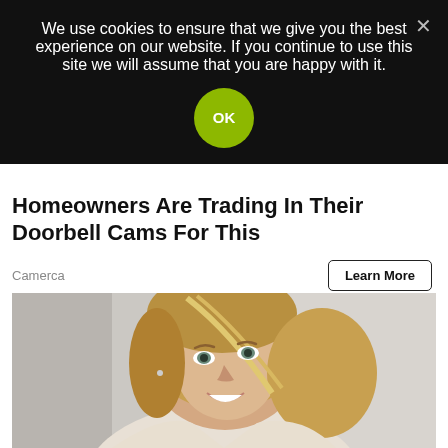We use cookies to ensure that we give you the best experience on our website. If you continue to use this site we will assume that you are happy with it.
OK
Homeowners Are Trading In Their Doorbell Cams For This
Camerca
Learn More
[Figure (photo): Middle-aged woman with blonde hair smiling, looking upward to the right, against a blurred light gray background, wearing a light-colored top.]